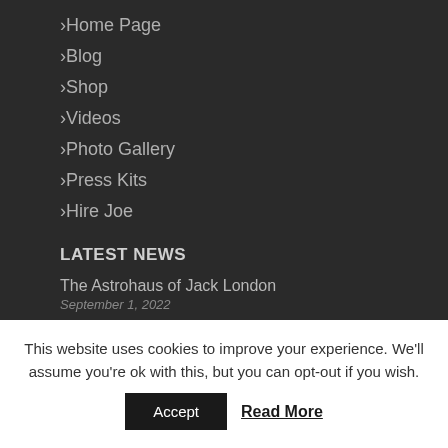Home Page
Blog
Shop
Videos
Photo Gallery
Press Kits
Hire Joe
LATEST NEWS
The Astrohaus of Jack London
September 1, 2022
Zero Limits Living TV
This website uses cookies to improve your experience. We'll assume you're ok with this, but you can opt-out if you wish.
Accept
Read More